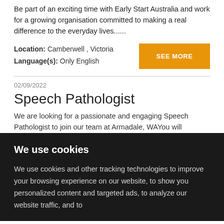Be part of an exciting time with Early Start Australia and work for a growing organisation committed to making a real difference to the everyday lives......
Location: Camberwell , Victoria
Language(s): Only English
SEE MORE
02/09/2022
Speech Pathologist
We are looking for a passionate and engaging Speech Pathologist to join our team at Armadale, WAYou will
We use cookies
We use cookies and other tracking technologies to improve your browsing experience on our website, to show you personalized content and targeted ads, to analyze our website traffic, and to